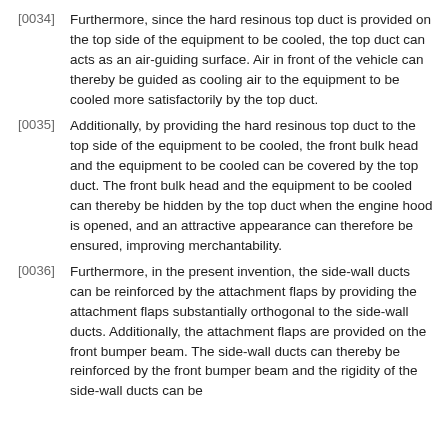[0034] Furthermore, since the hard resinous top duct is provided on the top side of the equipment to be cooled, the top duct can acts as an air-guiding surface. Air in front of the vehicle can thereby be guided as cooling air to the equipment to be cooled more satisfactorily by the top duct.
[0035] Additionally, by providing the hard resinous top duct to the top side of the equipment to be cooled, the front bulk head and the equipment to be cooled can be covered by the top duct. The front bulk head and the equipment to be cooled can thereby be hidden by the top duct when the engine hood is opened, and an attractive appearance can therefore be ensured, improving merchantability.
[0036] Furthermore, in the present invention, the side-wall ducts can be reinforced by the attachment flaps by providing the attachment flaps substantially orthogonal to the side-wall ducts. Additionally, the attachment flaps are provided on the front bumper beam. The side-wall ducts can thereby be reinforced by the front bumper beam and the rigidity of the side-wall ducts can be